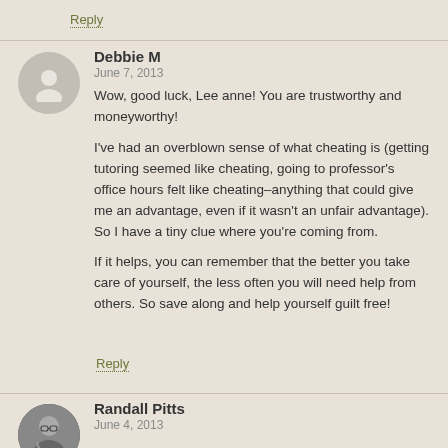Reply
Debbie M
June 7, 2013
Wow, good luck, Lee anne! You are trustworthy and moneyworthy!

I've had an overblown sense of what cheating is (getting tutoring seemed like cheating, going to professor's office hours felt like cheating–anything that could give me an advantage, even if it wasn't an unfair advantage). So I have a tiny clue where you're coming from.

If it helps, you can remember that the better you take care of yourself, the less often you will need help from others. So save along and help yourself guilt free!
Reply
Randall Pitts
June 4, 2013